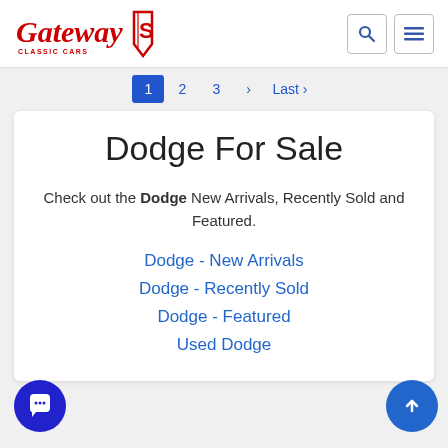Gateway Classic Cars — logo and navigation header
1 2 3 > Last ›
Dodge For Sale
Check out the Dodge New Arrivals, Recently Sold and Featured.
Dodge - New Arrivals
Dodge - Recently Sold
Dodge - Featured
Used Dodge